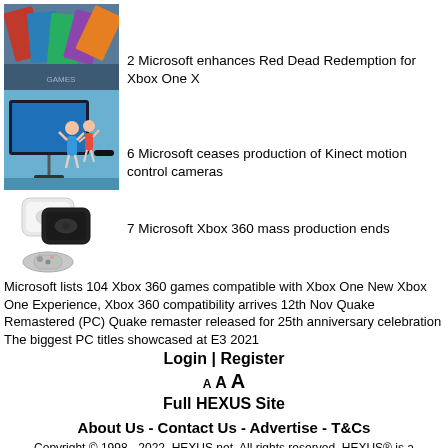[Figure (photo): Thumbnail image of Xbox/gaming game cases fanned out]
2 Microsoft enhances Red Dead Redemption for Xbox One X
[Figure (photo): Thumbnail image of people playing Xbox Kinect motion game in front of TV]
6 Microsoft ceases production of Kinect motion control cameras
[Figure (photo): Thumbnail image of white and black Xbox 360 consoles with controller]
7 Microsoft Xbox 360 mass production ends Microsoft lists 104 Xbox 360 games compatible with Xbox One New Xbox One Experience, Xbox 360 compatibility arrives 12th Nov Quake Remastered (PC) Quake remaster released for 25th anniversary celebration The biggest PC titles showcased at E3 2021
Login | Register
A A A
Full HEXUS Site
About Us - Contact Us - Advertise - T&Cs
Copyright © 1998 - 2022, HEXUS.net. All rights reserved. HEXUS® is a registered trademark of HEXUS.